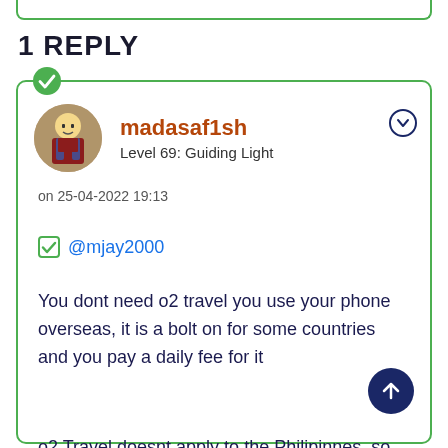1 REPLY
madasaf1sh
Level 69: Guiding Light
on 25-04-2022 19:13
@mjay2000
You dont need o2 travel you use your phone overseas, it is a bolt on for some countries and you pay a daily fee for it
o2 Travel doesnt apply to the Philipinnes, so you will pay to make and recieve calls and also for